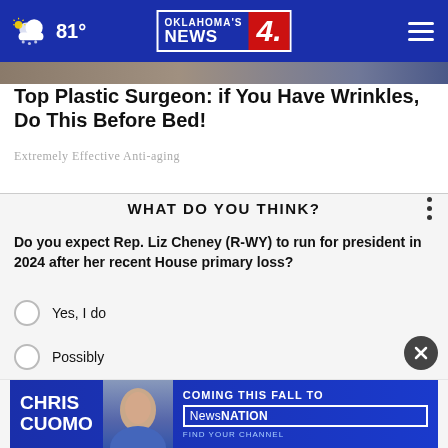81° Oklahoma's News 4
Top Plastic Surgeon: if You Have Wrinkles, Do This Before Bed!
Extremely Effective Anti-aging
WHAT DO YOU THINK?
Do you expect Rep. Liz Cheney (R-WY) to run for president in 2024 after her recent House primary loss?
Yes, I do
Possibly
No, I don't
[Figure (screenshot): Bottom advertisement banner for Chris Cuomo coming to NewsNation this fall]